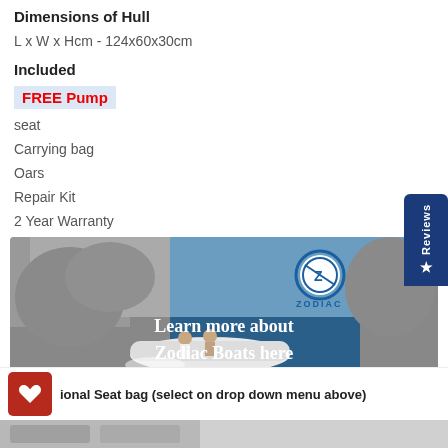Dimensions of Hull
L x W x Hcm - 124x60x30cm
Included
FREE Pump
seat
Carrying bag
Oars
Repair Kit
2 Year Warranty
[Figure (photo): Zodiac inflatable boat with two people on water near rocky cliffs, with Zodiac logo and text 'Learn more about Zodiac Boats here']
ional Seat bag (select on drop down menu above)
[Figure (photo): Partial view of product image at bottom of page]